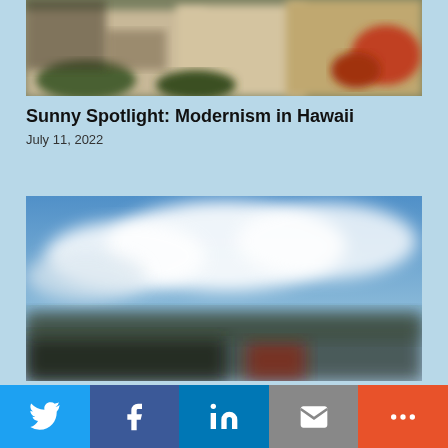[Figure (photo): Blurred architectural photo of a modernist building with tropical vegetation, warm tones, partial top crop]
Sunny Spotlight: Modernism in Hawaii
July 11, 2022
[Figure (photo): Blurred outdoor photo showing blue sky with clouds and dark forms in lower portion, possibly a landscape or architectural exterior in Hawaii]